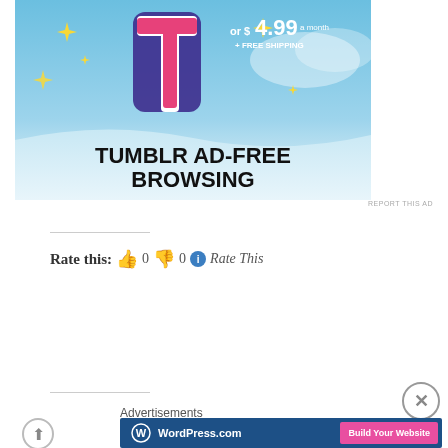[Figure (advertisement): Tumblr Ad-Free Browsing advertisement banner with Tumblr 't' logo, sparkles, blue sky background, price 'or $4.99 a month + FREE SHIPPING', and text 'TUMBLR AD-FREE BROWSING']
REPORT THIS AD
Rate this: 👍 0 👎 0 ℹ Rate This
Advertisements
[Figure (advertisement): WordPress.com banner ad with logo and 'Build Your Website' pink button on dark blue background]